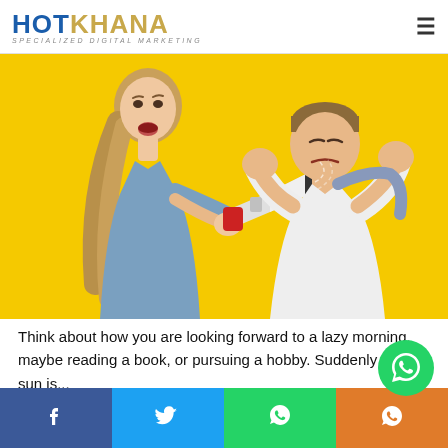HOTKHANA SPECIALIZED DIGITAL MARKETING
[Figure (photo): Woman shouting through a megaphone at a man covering his ears, on a yellow background]
Think about how you are looking forward to a lazy morning, maybe reading a book, or pursuing a hobby. Suddenly the sun is...